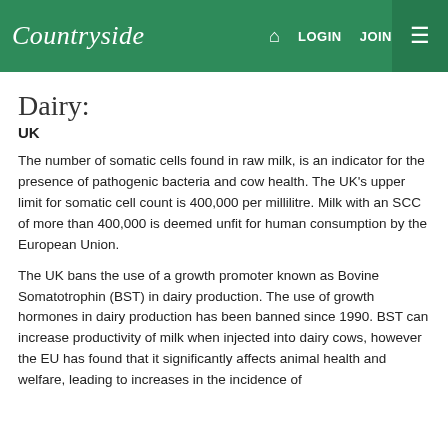Countryside — LOGIN JOIN ☰
Dairy:
UK
The number of somatic cells found in raw milk, is an indicator for the presence of pathogenic bacteria and cow health. The UK's upper limit for somatic cell count is 400,000 per millilitre. Milk with an SCC of more than 400,000 is deemed unfit for human consumption by the European Union.
The UK bans the use of a growth promoter known as Bovine Somatotrophin (BST) in dairy production. The use of growth hormones in dairy production has been banned since 1990. BST can increase productivity of milk when injected into dairy cows, however the EU has found that it significantly affects animal health and welfare, leading to increases in the incidence of